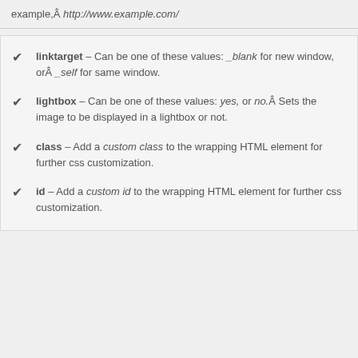example,Â http://www.example.com/
linktarget – Can be one of these values: _blank for new window, orÂ _self for same window.
lightbox – Can be one of these values: yes, or no.Â Sets the image to be displayed in a lightbox or not.
class – Add a custom class to the wrapping HTML element for further css customization.
id – Add a custom id to the wrapping HTML element for further css customization.